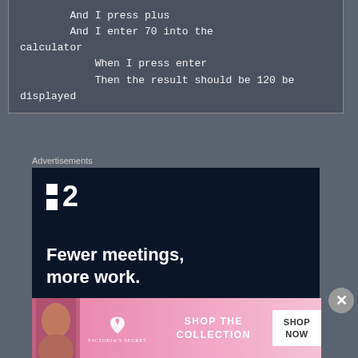And I press plus
    And I enter 70 into the calculator
        When I press enter
        Then the result should be 120 be displayed
Advertisements
[Figure (screenshot): Dark navy advertisement for a project management tool showing a colon-dash-2 logo and the tagline 'Fewer meetings, more work.']
[Figure (screenshot): Pink banner advertisement for Victoria's Secret showing a woman's face, the VS logo, 'SHOP THE COLLECTION' text, and a 'SHOP NOW' button]